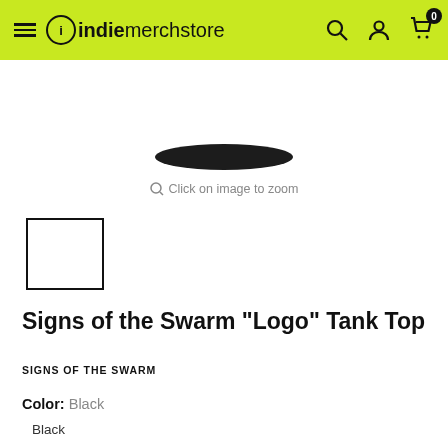indiemerchstore
[Figure (photo): Bottom portion of a black tank top on white background, showing just the curved bottom hem]
Click on image to zoom
[Figure (photo): Small thumbnail image placeholder box with black border]
Signs of the Swarm "Logo" Tank Top
SIGNS OF THE SWARM
Color: Black
Black